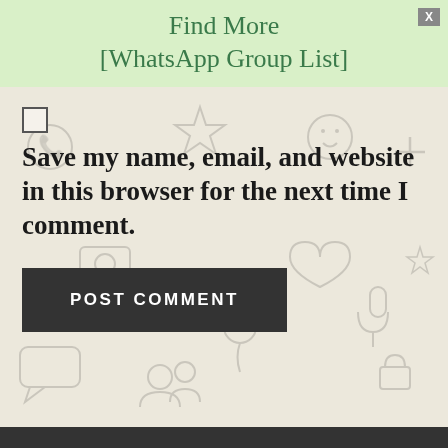Find More
[WhatsApp Group List]
[Figure (illustration): Light green header banner with teal text 'Find More [WhatsApp Group List]' and a grey X close button in top right corner]
Save my name, email, and website in this browser for the next time I comment.
POST COMMENT
Copyright © 2022 · WhatsApp Group Link. All Rights Reserved.